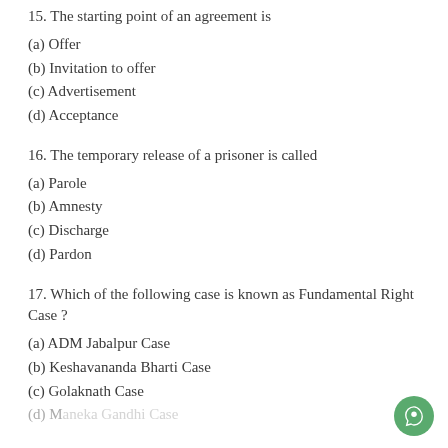15. The starting point of an agreement is
(a) Offer
(b) Invitation to offer
(c) Advertisement
(d) Acceptance
16. The temporary release of a prisoner is called
(a) Parole
(b) Amnesty
(c) Discharge
(d) Pardon
17. Which of the following case is known as Fundamental Right Case ?
(a) ADM Jabalpur Case
(b) Keshavananda Bharti Case
(c) Golaknath Case
(d) Maneka Gandhi Case